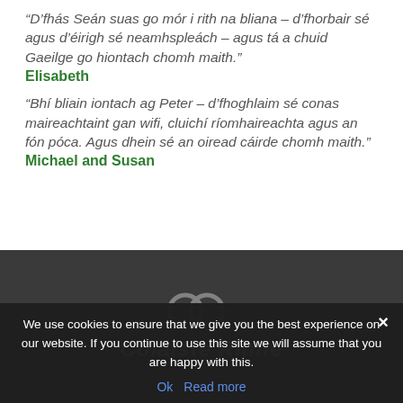“D’fhás Seán suas go mór i rith na bliana – d’fhorbair sé agus d’éirigh sé neamhspleách – agus tá a chuid Gaeilge go hiontach chomh maith.”
Elisabeth
“Bhí bliain iontach ag Peter – d’fhoghlaim sé conas maireachtaint gan wifi, cluichí ríomhaireachta agus an fón póca. Agus dhein sé an oiread cáirde chomh maith.”
Michael and Susan
[Figure (logo): Coláiste Rinne logo with two interlocking circles and stylized text]
We use cookies to ensure that we give you the best experience on our website. If you continue to use this site we will assume that you are happy with this.